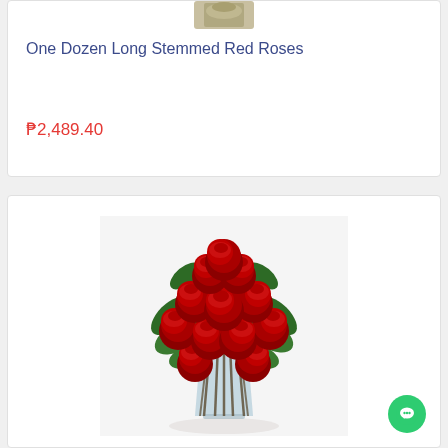[Figure (photo): Partial view of a floral product image at the top of a product card, partially cropped]
One Dozen Long Stemmed Red Roses
₱2,489.40
[Figure (photo): A bouquet of one dozen long-stemmed red roses with green leaves arranged in a clear glass vase, against a white background]